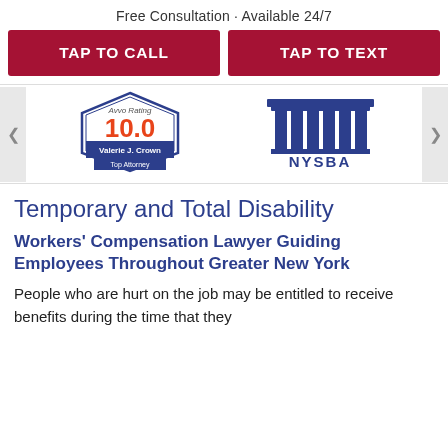Free Consultation · Available 24/7
TAP TO CALL
TAP TO TEXT
[Figure (logo): Avvo rating badge showing 10.0 rating for Valerie J. Crown, Top Attorney]
[Figure (logo): NYSBA (New York State Bar Association) logo showing blue columns building icon with NYSBA text]
Temporary and Total Disability
Workers' Compensation Lawyer Guiding Employees Throughout Greater New York
People who are hurt on the job may be entitled to receive benefits during the time that they